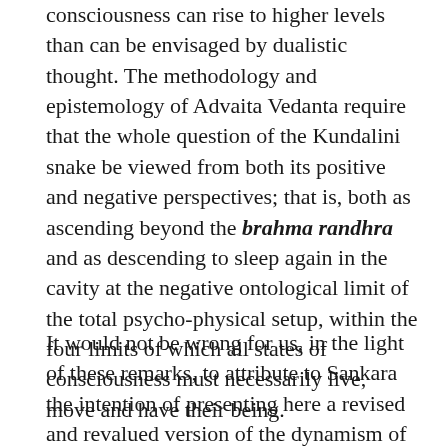consciousness can rise to higher levels than can be envisaged by dualistic thought. The methodology and epistemology of Advaita Vedanta require that the whole question of the Kundalini snake be viewed from both its positive and negative perspectives; that is, both as ascending beyond the brahma randhra and as descending to sleep again in the cavity at the negative ontological limit of the total psycho-physical setup, within the four limits of which all states of consciousness must necessarily live, move and have their being.
It would not be wrong for us, in the light of these remarks, to attribute to Sankara the intention of presenting here a revised and revalued version of the dynamism of psycho-physical